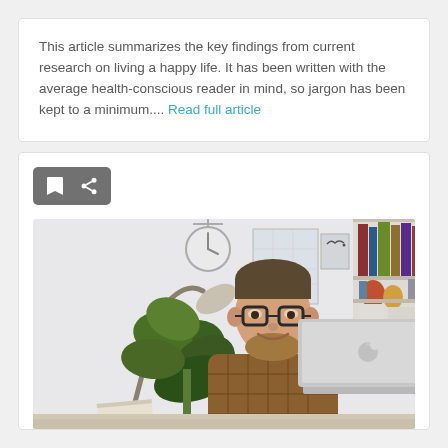This article summarizes the key findings from current research on living a happy life. It has been written with the average health-conscious reader in mind, so jargon has been kept to a minimum.... Read full article
[Figure (other): Toolbar with bookmark and share icons on a dark grey rounded rectangle background]
[Figure (photo): A bearded man with glasses smiling while working on a MacBook laptop at a desk, with a large potted plant, a desk lamp, and bookshelves visible in the background]